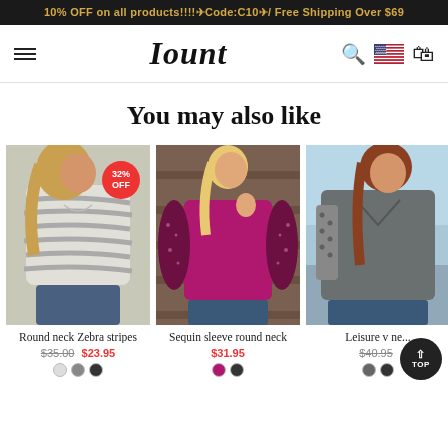10% OFF on all products!!!!✈Code:C10✈/ Free Shipping Over $69
Iount — navigation bar with hamburger menu, search, flag, cart icons
You may also like
[Figure (photo): Woman wearing round neck zebra stripe long-sleeve sweatshirt, with 32% OFF badge]
Round neck Zebra stripes
$35.00  $23.95
[Figure (photo): Woman wearing magenta sequin sleeve round neck top]
Sequin sleeve round neck
$31.95
[Figure (photo): Woman wearing grey leisure V-neck top, partially cropped]
Leisure v ne...
$40.95